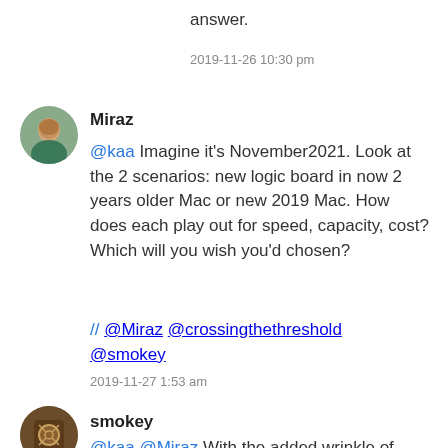answer.
2019-11-26 10:30 pm
Miraz
@kaa Imagine it's November2021. Look at the 2 scenarios: new logic board in now 2 years older Mac or new 2019 Mac. How does each play out for speed, capacity, cost? Which will you wish you'd chosen?
// @Miraz @crossingthethreshold @smokey
2019-11-27 1:53 am
smokey
@kaa @Miraz With the added wrinkle of